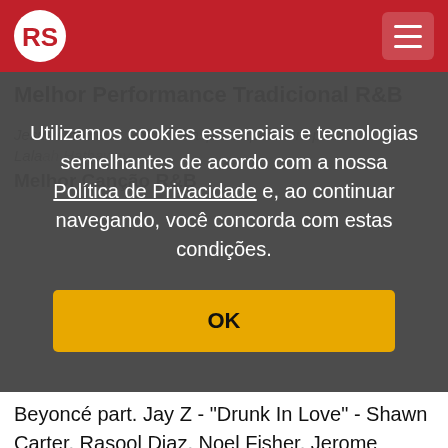RS (Rolling Stone logo) — navigation header
Melhor Performance Tradicional R&B
Utilizamos cookies essenciais e tecnologias semelhantes de acordo com a nossa Política de Privacidade e, ao continuar navegando, você concorda com estas condições.
OK
Jesus Children - Robert Glasper Experiment part. Lalah Hathaway
Melhor Canção R&B
Beyoncé part. Jay Z - "Drunk In Love" - Shawn Carter, Rasool Diaz, Noel Fisher, Jerome Harmon, Beyoncé Knowles, Timothy Mosely, Andre Eric Proctor & Brian Soko, autores